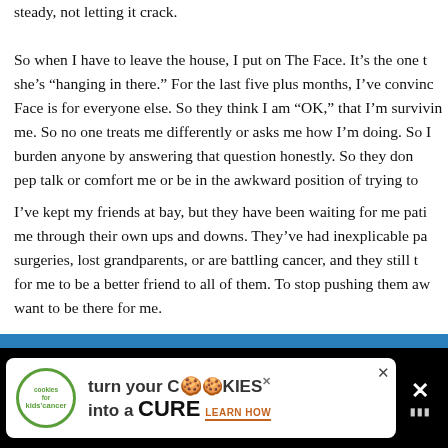steady, not letting it crack.
So when I have to leave the house, I put on The Face. It's the one that she's "hanging in there." For the last five plus months, I've convinced Face is for everyone else. So they think I am "OK," that I'm surviving me. So no one treats me differently or asks me how I'm doing. So I burden anyone by answering that question honestly. So they don't pep talk or comfort me or be in the awkward position of trying to
I've kept my friends at bay, but they have been waiting for me patiently me through their own ups and downs. They've had inexplicable pa surgeries, lost grandparents, or are battling cancer, and they still for me to be a better friend to all of them. To stop pushing them away want to be there for me.
So I have started leaving my house. I spent a peaceful weekend on sailboat with my friends.
[Figure (infographic): Advertisement banner: 'cookies for kids cancer - turn your COOKIES into a CURE LEARN HOW' with close button and menu icon on black background]